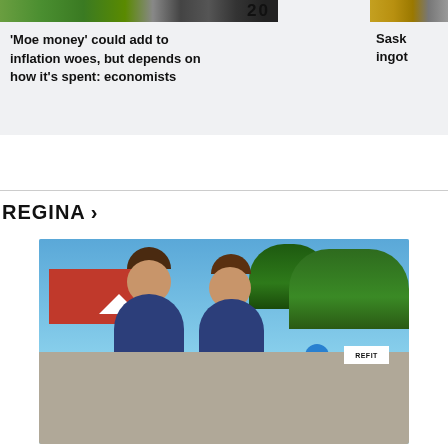[Figure (photo): Top left: image of Canadian $20 bills]
'Moe money' could add to inflation woes, but depends on how it's spent: economists
[Figure (photo): Top right: partial image, possibly gold ingot or mining equipment]
Sask ingot
REGINA >
[Figure (photo): Two women in navy blue t-shirts standing at an outdoor fitness event (REFIT), smiling at the camera. Background shows a red building, white tents, red barriers, and people in blue shirts.]